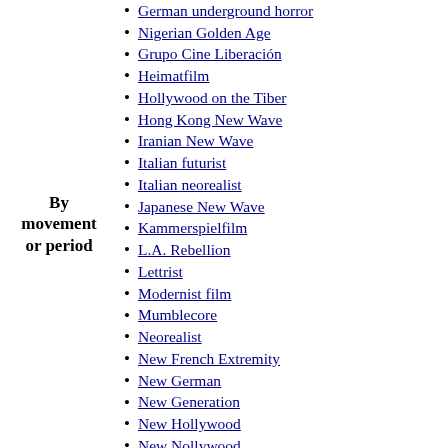By movement or period
German underground horror
Nigerian Golden Age
Grupo Cine Liberación
Heimatfilm
Hollywood on the Tiber
Hong Kong New Wave
Iranian New Wave
Italian futurist
Italian neorealist
Japanese New Wave
Kammerspielfilm
L.A. Rebellion
Lettrist
Modernist film
Mumblecore
Neorealist
New French Extremity
New German
New Generation
New Hollywood
New Nollywood
New Queer
No wave
Nuevo Cine Mexicano
Pan-Indian film